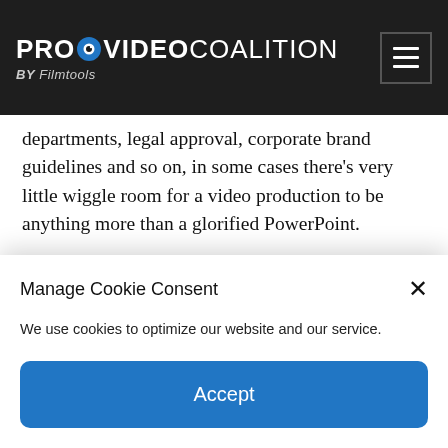PROVIDEO COALITION BY Filmtools
departments, legal approval, corporate brand guidelines and so on, in some cases there's very little wiggle room for a video production to be anything more than a glorified PowerPoint.
But if you're going to make a glorified PowerPoint, you may as well do it in style – and that's what makes the
Manage Cookie Consent
We use cookies to optimize our website and our service.
Accept